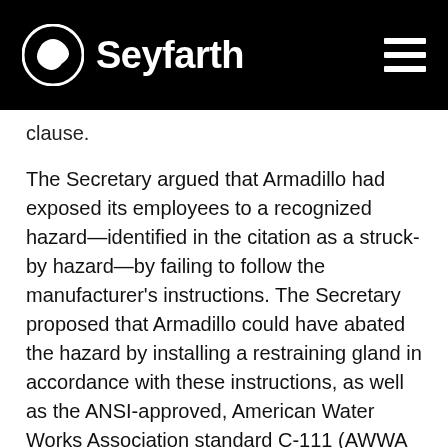Seyfarth
clause.
The Secretary argued that Armadillo had exposed its employees to a recognized hazard—identified in the citation as a struck-by hazard—by failing to follow the manufacturer's instructions. The Secretary proposed that Armadillo could have abated the hazard by installing a restraining gland in accordance with these instructions, as well as the ANSI-approved, American Water Works Association standard C-111 (AWWA standard), entitled “Rubber-Gasket Joints for Ductile Iron Pressure Pipe and Fittings.”). According to the Secretary, the manufacturer’s instructions and the AWWA standard